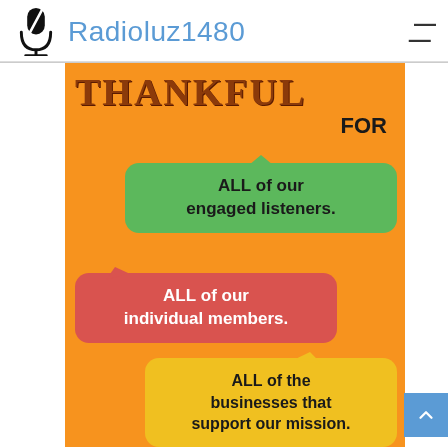[Figure (logo): Radioluz1480 website header with microphone icon logo and brand name in blue text, plus hamburger menu icon on the right]
[Figure (infographic): Orange background infographic with the word THANKFUL FOR in large brown/black letters, followed by three speech bubbles: green bubble saying ALL of our engaged listeners., red bubble saying ALL of our individual members., yellow bubble saying ALL of the businesses that support our mission.]